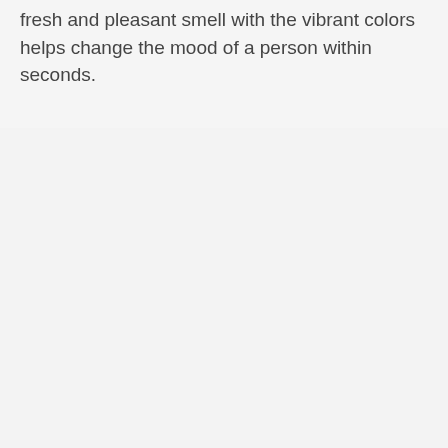fresh and pleasant smell with the vibrant colors helps change the mood of a person within seconds.